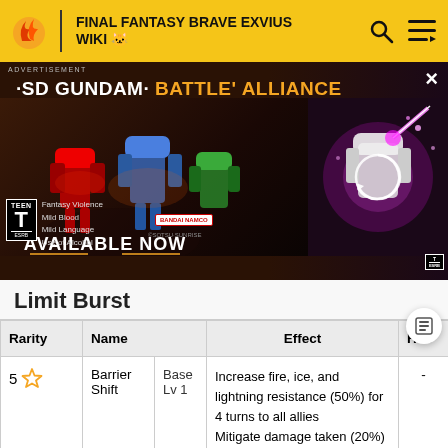FINAL FANTASY BRAVE EXVIUS WIKI
[Figure (screenshot): SD Gundam Battle Alliance advertisement banner with robots, 'Available Now' text, ESRB Teen rating, and Bandai Namco logo]
Limit Burst
| Rarity | Name |  | Effect | Hits |
| --- | --- | --- | --- | --- |
| 5 ★ | Barrier Shift | Base Lv 1 | Increase fire, ice, and lightning resistance (50%) for 4 turns to all allies
Mitigate damage taken (20%) for 4 turns to all allies
Restore MP (120) to | - |